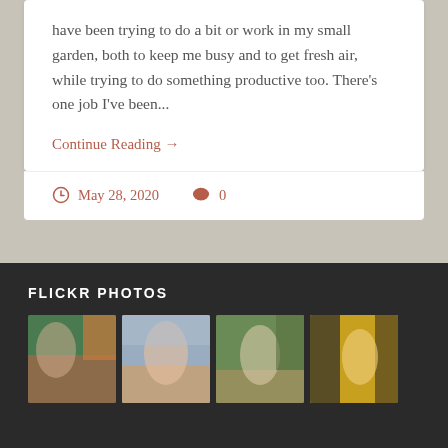have been trying to do a bit or work in my small garden, both to keep me busy and to get fresh air, while trying to do something productive too. There's one job I've been...
Continue Reading →
May 28, 2020   0
FLICKR PHOTOS
[Figure (photo): Four thumbnail photos in a row showing illustrated female characters in various fantasy/stylized settings.]